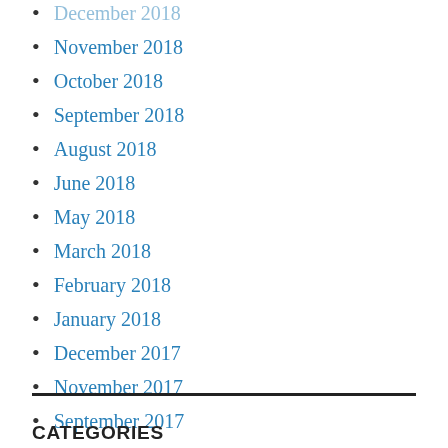November 2018
October 2018
September 2018
August 2018
June 2018
May 2018
March 2018
February 2018
January 2018
December 2017
November 2017
September 2017
CATEGORIES